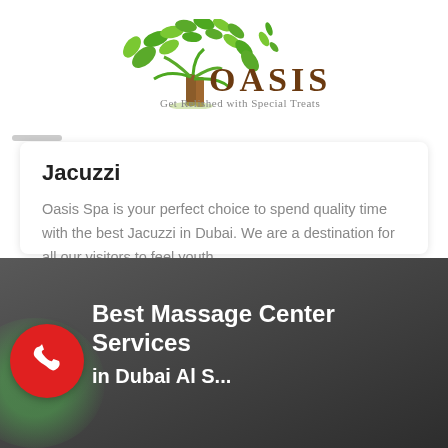[Figure (logo): Oasis Spa logo with green tree/leaves illustration, text 'OASIS' in brown serif font, tagline 'Get Relished with Special Treats']
Jacuzzi
Oasis Spa is your perfect choice to spend quality time with the best Jacuzzi in Dubai. We are a destination for all our visitors to feel youth
[Figure (other): Book Now button with green rounded border]
[Figure (other): Bottom dark section with green circle blur, red phone call button, and white text 'Best Massage Center Services in Dubai Al S...']